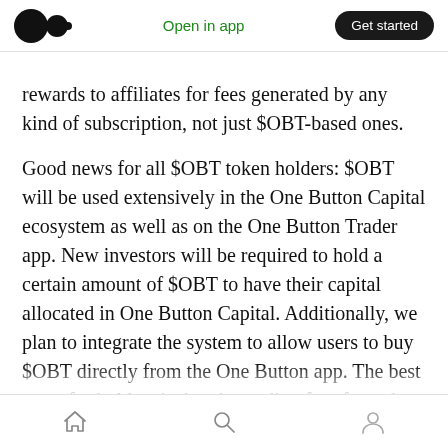Medium app header — Open in app | Get started
rewards to affiliates for fees generated by any kind of subscription, not just $OBT-based ones.
Good news for all $OBT token holders: $OBT will be used extensively in the One Button Capital ecosystem as well as on the One Button Trader app. New investors will be required to hold a certain amount of $OBT to have their capital allocated in One Button Capital. Additionally, we plan to integrate the system to allow users to buy $OBT directly from the One Button app. The best news for holders is that the trading fees from the One Button Trader app will be used to purchase
Home | Search | Profile